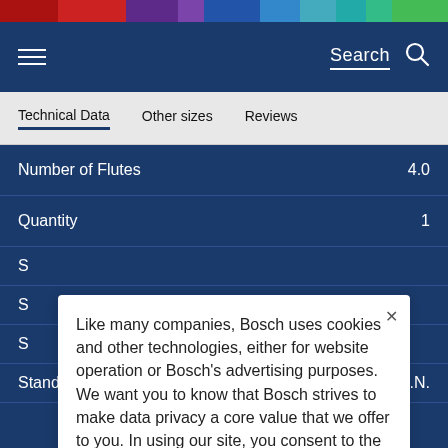Search
Technical Data | Other sizes | Reviews
| Property | Value |
| --- | --- |
| Number of Flutes | 4.0 |
| Quantity | 1 |
| S |  |
| S |  |
| S |  |
| Standard | D.I.N. |
Like many companies, Bosch uses cookies and other technologies, either for website operation or Bosch's advertising purposes. We want you to know that Bosch strives to make data privacy a core value that we offer to you. In using our site, you consent to the use of these cookies and other technologies. Change your preferences.